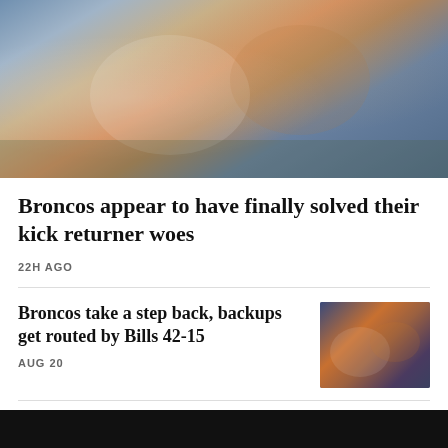[Figure (photo): NFL football action shot: Buffalo Bills player tackling a Denver Broncos player, both in white and blue/orange uniforms, with crowd in background]
Broncos appear to have finally solved their kick returner woes
22H AGO
Broncos take a step back, backups get routed by Bills 42-15
AUG 20
[Figure (photo): NFL game action thumbnail showing multiple players on the field]
Meet the duo behind some of minor league baseball's unique names
[Figure (photo): Two men smiling in a hat shop with colorful hats on display in background]